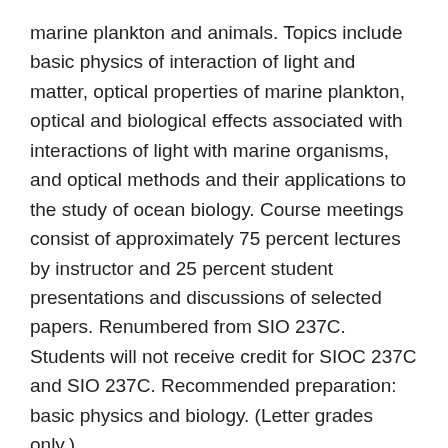marine plankton and animals. Topics include basic physics of interaction of light and matter, optical properties of marine plankton, optical and biological effects associated with interactions of light with marine organisms, and optical methods and their applications to the study of ocean biology. Course meetings consist of approximately 75 percent lectures by instructor and 25 percent student presentations and discussions of selected papers. Renumbered from SIO 237C. Students will not receive credit for SIOC 237C and SIO 237C. Recommended preparation: basic physics and biology. (Letter grades only.)
SIOC 241. Advanced Signal Processing for Structural Vibrations and Acoustics (4)
Review basic fluid and elastic wave propagation in infinite and finite media. Introduce signal and array-processing